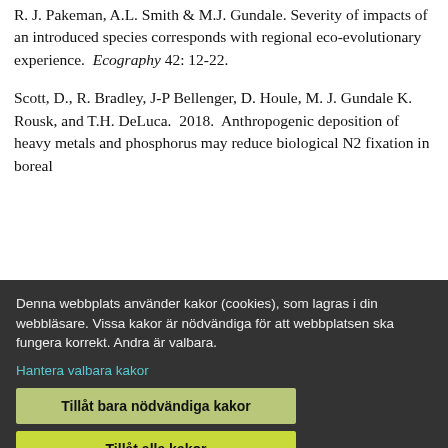R. J. Pakeman, A.L. Smith & M.J. Gundale. Severity of impacts of an introduced species corresponds with regional eco-evolutionary experience. Ecography 42: 12-22.
Scott, D., R. Bradley, J-P Bellenger, D. Houle, M. J. Gundale K. Rousk, and T.H. DeLuca. 2018. Anthropogenic deposition of heavy metals and phosphorus may reduce biological N2 fixation in boreal
Denna webbplats använder kakor (cookies), som lagras i din webbläsare. Vissa kakor är nödvändiga för att webbplatsen ska fungera korrekt. Andra är valbara.
Hantera valbara kakor
Tillåt bara nödvändiga kakor
Tillåt alla kakor